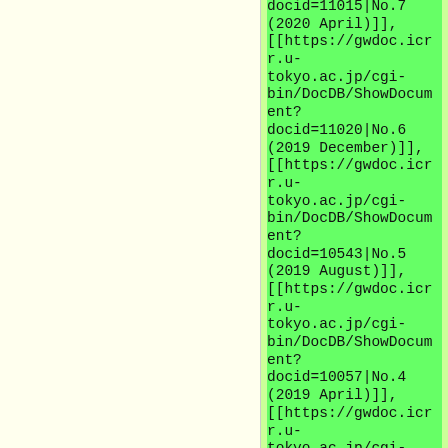docid=11015|No.7 (2020 April)]], [[https://gwdoc.icr.u-tokyo.ac.jp/cgi-bin/DocDB/ShowDocument?docid=11020|No.6 (2019 December)]], [[https://gwdoc.icr.u-tokyo.ac.jp/cgi-bin/DocDB/ShowDocument?docid=10543|No.5 (2019 August)]], [[https://gwdoc.icr.u-tokyo.ac.jp/cgi-bin/DocDB/ShowDocument?docid=10057|No.4 (2019 April)]], [[https://gwdoc.icr.u-tokyo.ac.jp/cgi-